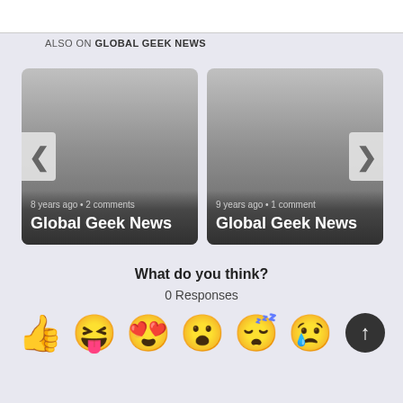ALSO ON GLOBAL GEEK NEWS
[Figure (screenshot): Card showing article from 8 years ago with 2 comments titled Global Geek News, with left navigation arrow]
[Figure (screenshot): Card showing article from 9 years ago with 1 comment titled Global Geek News, with right navigation arrow]
What do you think?
0 Responses
[Figure (infographic): Row of emoji reaction icons: thumbs up, laughing face with tongue, heart eyes, surprised face, sleepy/sick face, crying face. Back to top button overlay.]